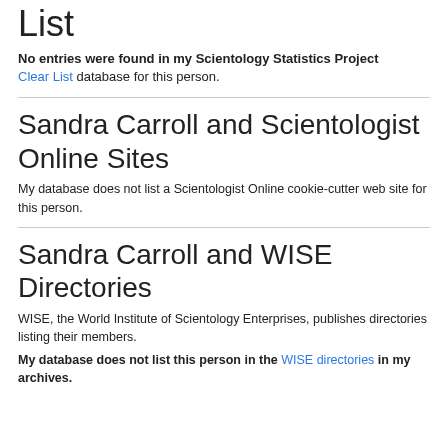List
No entries were found in my Scientology Statistics Project Clear List database for this person.
Sandra Carroll and Scientologist Online Sites
My database does not list a Scientologist Online cookie-cutter web site for this person.
Sandra Carroll and WISE Directories
WISE, the World Institute of Scientology Enterprises, publishes directories listing their members.
My database does not list this person in the WISE directories in my archives.